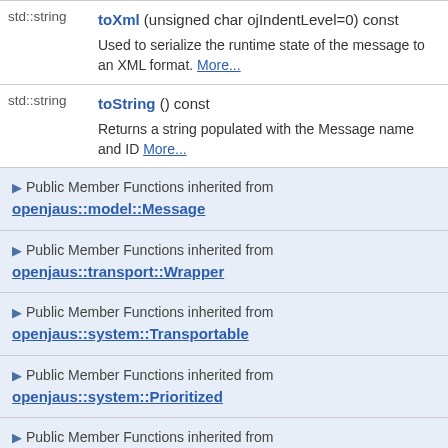| std::string | toXml (unsigned char ojIndentLevel=0) const
Used to serialize the runtime state of the message to an XML format. More... |
| std::string | toString () const
Returns a string populated with the Message name and ID More... |
▶ Public Member Functions inherited from openjaus::model::Message
▶ Public Member Functions inherited from openjaus::transport::Wrapper
▶ Public Member Functions inherited from openjaus::system::Transportable
▶ Public Member Functions inherited from openjaus::system::Prioritized
▶ Public Member Functions inherited from openjaus::model::Trigger